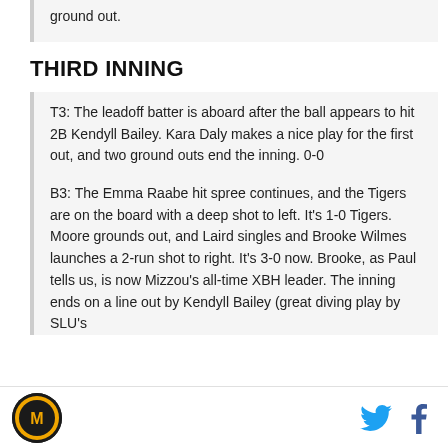ground out.
THIRD INNING
T3: The leadoff batter is aboard after the ball appears to hit 2B Kendyll Bailey. Kara Daly makes a nice play for the first out, and two ground outs end the inning. 0-0
B3: The Emma Raabe hit spree continues, and the Tigers are on the board with a deep shot to left. It's 1-0 Tigers. Moore grounds out, and Laird singles and Brooke Wilmes launches a 2-run shot to right. It's 3-0 now. Brooke, as Paul tells us, is now Mizzou's all-time XBH leader. The inning ends on a line out by Kendyll Bailey (great diving play by SLU's